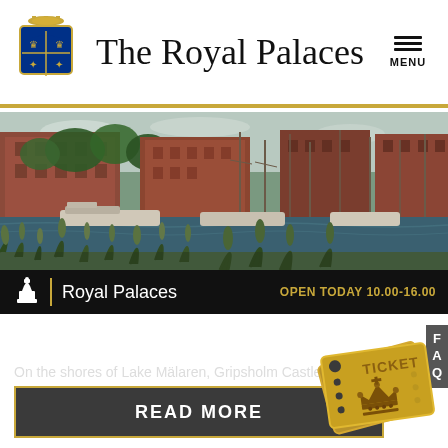The Royal Palaces
[Figure (photo): Waterfront scene showing boats moored at a marina with large red-brick buildings, trees, and sailboat masts in the background under a cloudy sky.]
Royal Palaces | OPEN TODAY 10.00-16.00
Gripsholm Castle
On the shores of Lake Mälaren, Gripsholm Castle towers powerfully and fairytale-like over the idyllic small town of Mariefred in Söderman...
READ MORE
[Figure (illustration): Gold-colored ticket with crown emblem and the word TICKET printed on it.]